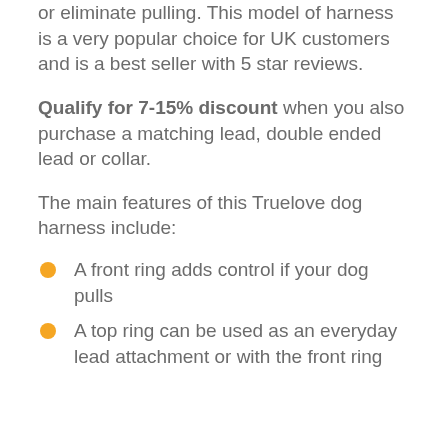or eliminate pulling. This model of harness is a very popular choice for UK customers and is a best seller with 5 star reviews.
Qualify for 7-15% discount when you also purchase a matching lead, double ended lead or collar.
The main features of this Truelove dog harness include:
A front ring adds control if your dog pulls
A top ring can be used as an everyday lead attachment or with the front ring